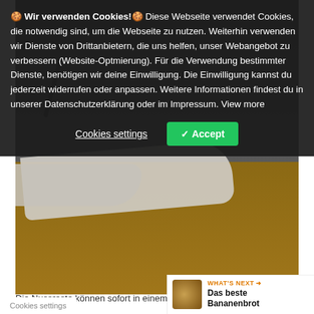[Figure (photo): Photo of a white cloth with nut residue on a wooden table, with a dark background at top]
Die Nussreste können sofort in einem Müsli verarbeitet werden
Ich habe zwei verschiedene Sorten Walnussmilch hergestellt. Die eine besteht aus rohen Nüssen, die andere aus gerösteten Nüssen. Der Unterschied ist schon zu schmecken, ist aber nicht sehr groß. Geröstete Walnussmilch schmeckt mir etw
🍪 Wir verwenden Cookies!🍪 Diese Webseite verwendet Cookies, die notwendig sind, um die Webseite zu nutzen. Weiterhin verwenden wir Dienste von Drittanbietern, die uns helfen, unser Webangebot zu verbessern (Website-Optmierung). Für die Verwendung bestimmter Dienste, benötigen wir deine Einwilligung. Die Einwilligung kannst du jederzeit widerrufen oder anpassen. Weitere Informationen findest du in unserer Datenschutzerklärung oder im Impressum. View more
Cookies settings
Accept
WHAT'S NEXT → Das beste Bananenbrot
Cookies settings